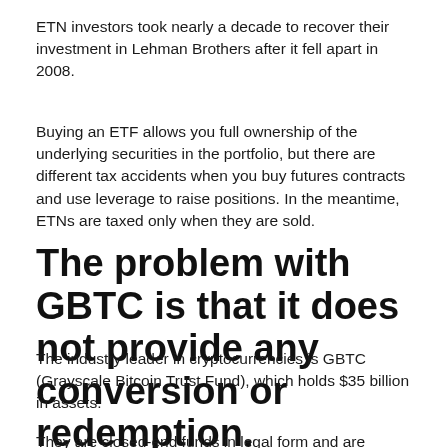ETN investors took nearly a decade to recover their investment in Lehman Brothers after it fell apart in 2008.
Buying an ETF allows you full ownership of the underlying securities in the portfolio, but there are different tax accidents when you buy futures contracts and use leverage to raise positions. In the meantime, ETNs are taxed only when they are sold.
The problem with GBTC is that it does not provide any conversion or redemption.
The industry leader in cryptocurrencies is GBTC (Grayscale Bitcoin Trust Fund), which holds $35 billion in assets.
They are closed-end funds in legal form and are 'investment